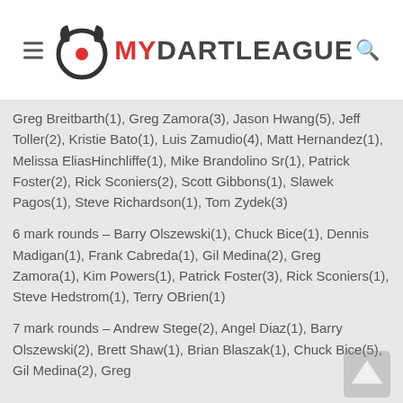MyDartLeague
Greg Breitbarth(1), Greg Zamora(3), Jason Hwang(5), Jeff Toller(2), Kristie Bato(1), Luis Zamudio(4), Matt Hernandez(1), Melissa EliasHinchliffe(1), Mike Brandolino Sr(1), Patrick Foster(2), Rick Sconiers(2), Scott Gibbons(1), Slawek Pagos(1), Steve Richardson(1), Tom Zydek(3)
6 mark rounds – Barry Olszewski(1), Chuck Bice(1), Dennis Madigan(1), Frank Cabreda(1), Gil Medina(2), Greg Zamora(1), Kim Powers(1), Patrick Foster(3), Rick Sconiers(1), Steve Hedstrom(1), Terry OBrien(1)
7 mark rounds – Andrew Stege(2), Angel Diaz(1), Barry Olszewski(2), Brett Shaw(1), Brian Blaszak(1), Chuck Bice(5), Gil Medina(2), Greg...